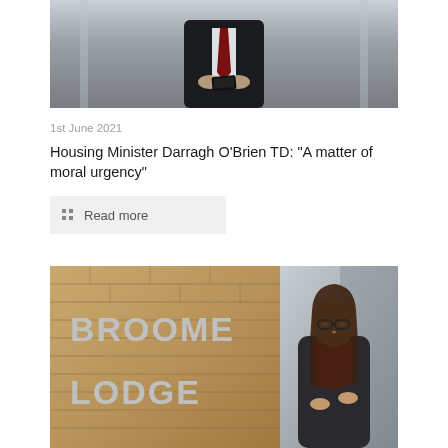[Figure (photo): Photo of a person in a dark suit with a red tie, holding a phone, from the torso down, blurred background]
1st June 2021
Housing Minister Darragh O’Brien TD: “A matter of moral urgency”
Read more
[Figure (photo): Photo of Broome Lodge sign on a brick wall on the left side, and a woman in a red top and black cardigan with glasses standing with arms crossed on the right side]